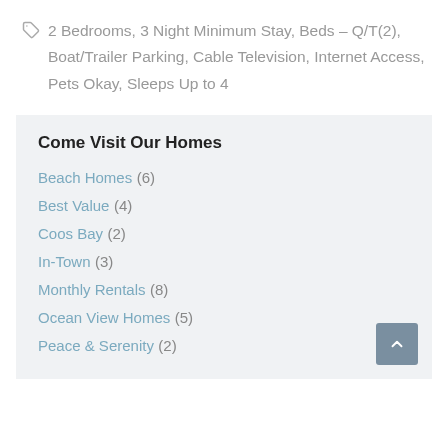2 Bedrooms, 3 Night Minimum Stay, Beds – Q/T(2), Boat/Trailer Parking, Cable Television, Internet Access, Pets Okay, Sleeps Up to 4
Come Visit Our Homes
Beach Homes (6)
Best Value (4)
Coos Bay (2)
In-Town (3)
Monthly Rentals (8)
Ocean View Homes (5)
Peace & Serenity (2)